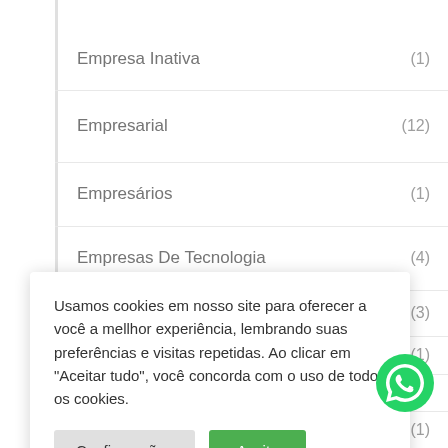Empresa Inativa (1)
Empresarial (12)
Empresários (1)
Empresas De Tecnologia (4)
(3)
(1)
(1)
Usamos cookies em nosso site para oferecer a você a mellhor experiência, lembrando suas preferências e visitas repetidas. Ao clicar em "Aceitar tudo", você concorda com o uso de todos os cookies.
Escrituração Contábil (1)